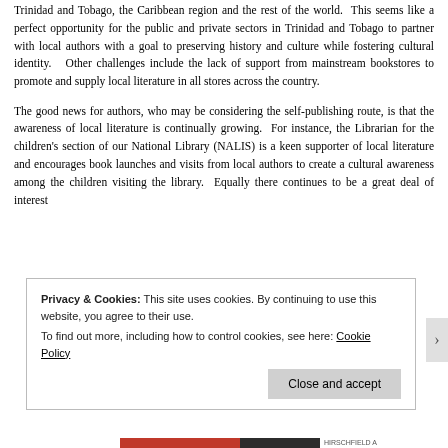Trinidad and Tobago, the Caribbean region and the rest of the world. This seems like a perfect opportunity for the public and private sectors in Trinidad and Tobago to partner with local authors with a goal to preserving history and culture while fostering cultural identity. Other challenges include the lack of support from mainstream bookstores to promote and supply local literature in all stores across the country.
The good news for authors, who may be considering the self-publishing route, is that the awareness of local literature is continually growing. For instance, the Librarian for the children's section of our National Library (NALIS) is a keen supporter of local literature and encourages book launches and visits from local authors to create a cultural awareness among the children visiting the library. Equally there continues to be a great deal of interest
Privacy & Cookies: This site uses cookies. By continuing to use this website, you agree to their use. To find out more, including how to control cookies, see here: Cookie Policy